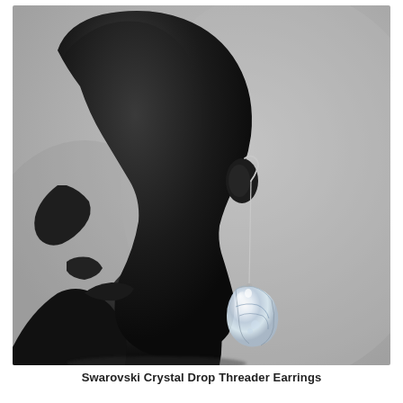[Figure (photo): A black mannequin head and neck (side profile) wearing a long threader earring with a clear teardrop-shaped Swarovski crystal pendant, photographed against a light grey background.]
Swarovski Crystal Drop Threader Earrings